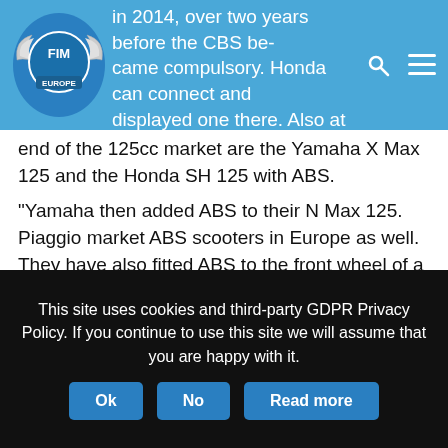in 2014, over two years before the CBS became compulsory. Honda can connect and displayed one there. Also at the top end of the 125cc market are the Yamaha X Max 125 and the Honda SH 125 with ABS.
end of the 125cc market are the Yamaha X Max 125 and the Honda SH 125 with ABS.
“Yamaha then added ABS to their N Max 125. Piaggio market ABS scooters in Europe as well. They have also fitted ABS to the front wheel of a base model small scooter they sell in South East Asia. The ABS is manufactured by Bosch and the single channel unit fitted on the Asian market model is small enough to fit in the palm of your hand.
“So the European rider has plenty of ABS models to choose from in this category. It is also good that European companies Piaggio and Bosch are extending this safety technology to customers in other parts of the world. This is another example of how EU regulation also
This site uses cookies and third-party GDPR Privacy Policy. If you continue to use this site we will assume that you are happy with it. Ok No Read more